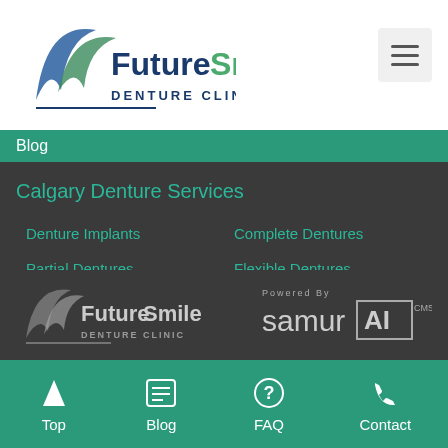[Figure (logo): FutureSmiles Denture Clinic logo with swoosh mark and text]
Blog
Calgary Denture Services
Denture Implants
Complete Dentures
Partial Dentures
Flexible Dentures
Denture Reline
Denture Rebase
[Figure (logo): FutureSmiles Denture Clinic footer logo in white/grey]
[Figure (logo): Powered By SamurAI CMS logo]
Top | Blog | FAQ | Contact